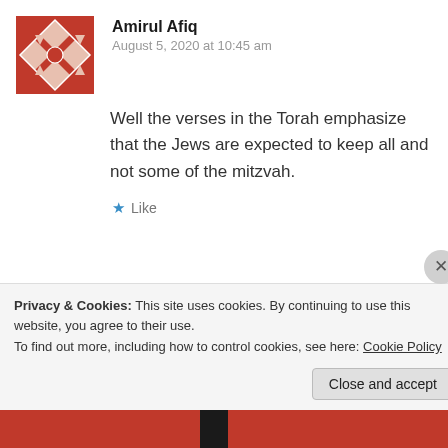[Figure (illustration): Amirul Afiq avatar: red geometric quilt pattern]
Amirul Afiq
August 5, 2020 at 10:45 am
Well the verses in the Torah emphasize that the Jews are expected to keep all and not some of the mitzvah.
Like
[Figure (illustration): Taha avatar: teal/cyan geometric quilt pattern]
Taha
August 5, 2020 at 10:47 am
Privacy & Cookies: This site uses cookies. By continuing to use this website, you agree to their use.
To find out more, including how to control cookies, see here: Cookie Policy
Close and accept